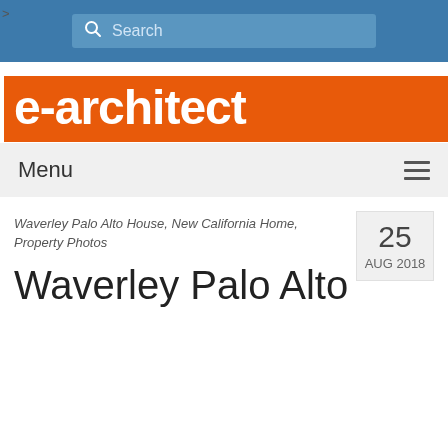Search
[Figure (logo): e-architect logo — white bold text on orange background]
Menu
Waverley Palo Alto House, New California Home, Property Photos
25 AUG 2018
Waverley Palo Alto